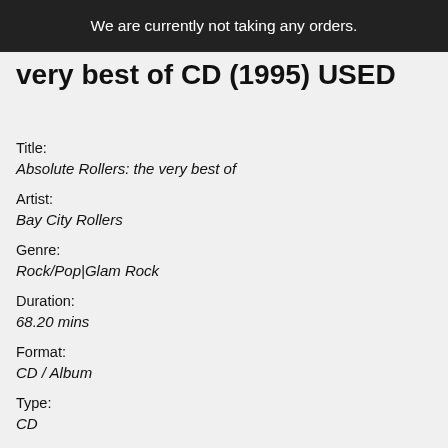We are currently not taking any orders.
very best of CD (1995) USED
Title:
Absolute Rollers: the very best of
Artist:
Bay City Rollers
Genre:
Rock/Pop|Glam Rock
Duration:
68.20 mins
Format:
CD / Album
Type:
CD
No. of Discs: